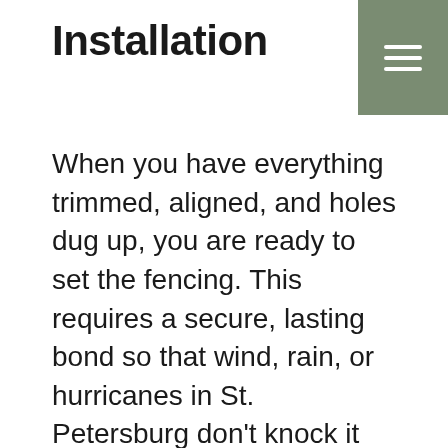Installation
When you have everything trimmed, aligned, and holes dug up, you are ready to set the fencing. This requires a secure, lasting bond so that wind, rain, or hurricanes in St. Petersburg don't knock it over. Many professionals use concrete because of its hardening properties, but if you go this route, use the quick-setting kind. You won't want to be standing around holding each post for hours or trying to prop them up and prevent them from falling over while it dries. To eliminate this issue, quick-setting bonds will move things along.